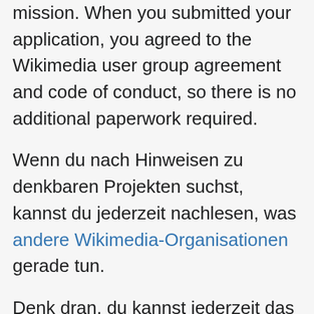mission. When you submitted your application, you agreed to the Wikimedia user group agreement and code of conduct, so there is no additional paperwork required.
Wenn du nach Hinweisen zu denkbaren Projekten suchst, kannst du jederzeit nachlesen, was andere Wikimedia-Organisationen gerade tun.
Denk dran, du kannst jederzeit das Affiliations Committee und auch andere Wikimedia-Organisationen um Hilfe bitten. Wikimedia Benutzergruppen können auch bei der Wikimedia Founation finanzielle Unterstützung beantragen. Im gegenzug würden wir gerne ab und zu etwas über eure Aktivitäten hören. Du kannst deine Berichte veröffentlichen oder deine Ansprechpartner im Affiliation Committee kontaktieren.